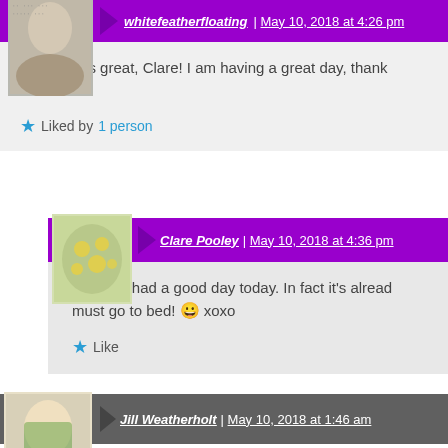whitefeatherfloating | May 10, 2018 at 4:26 pm
Wow, that's great, Clare! I am having a great day, thank xoxo
★ Liked by 1 person
Clare Pooley | May 10, 2018 at 4:36 pm
Yes, I've had a good day today. In fact it's already must go to bed! 😀 xoxo
★ Like
Jill Weatherholt | May 10, 2018 at 1:46 am